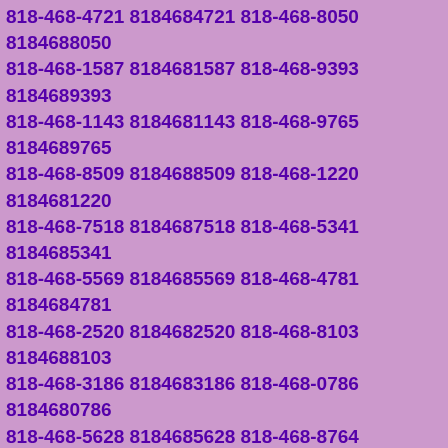818-468-4721 8184684721 818-468-8050 8184688050 818-468-1587 8184681587 818-468-9393 8184689393 818-468-1143 8184681143 818-468-9765 8184689765 818-468-8509 8184688509 818-468-1220 8184681220 818-468-7518 8184687518 818-468-5341 8184685341 818-468-5569 8184685569 818-468-4781 8184684781 818-468-2520 8184682520 818-468-8103 8184688103 818-468-3186 8184683186 818-468-0786 8184680786 818-468-5628 8184685628 818-468-8764 8184688764 818-468-0482 8184680482 818-468-8403 8184688403 818-468-7128 8184687128 818-468-6411 8184686411 818-468-2595 8184682595 818-468-8040 8184688040 818-468-4903 8184684903 818-468-9620 8184689620 818-468-1818 8184681818 818-468-4291 8184684291 818-468-7965 8184687965 818-468-3288 8184683288 818-468-2754 8184682754 818-468-1498 8184681498 818-468-5319 8184685319 818-468-4466 8184684466 818-468-2929 8184682929 818-468-3089 8184683089 818-468-4193 8184684193 818-468-0417 8184680417 818-468-9825 8184689825 818-468-9422 8184689422